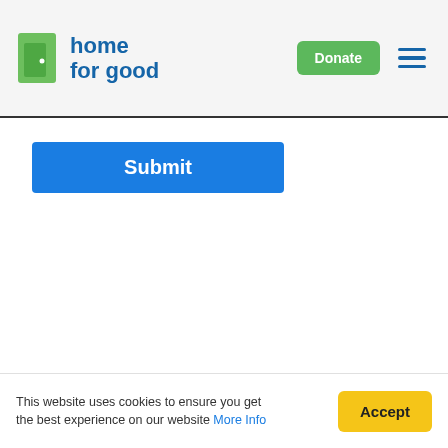home for good | Donate
Submit
This website uses cookies to ensure you get the best experience on our website More Info
Accept